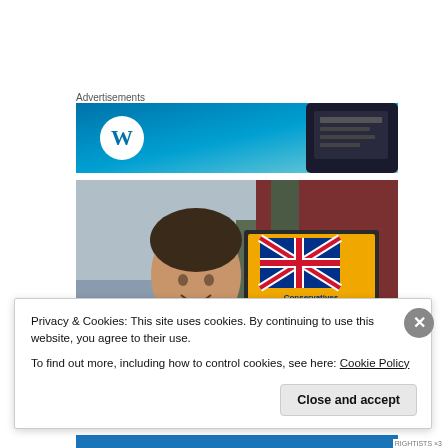Advertisements
[Figure (photo): WordPress advertisement banner with blue gradient background, WordPress logo circle on left and phone mockup on right]
[Figure (photo): Photo of man in suit smiling with Conservative party sign showing Union Jack and text 'Conservatives For The Privileged Few' on orange/yellow background]
Privacy & Cookies: This site uses cookies. By continuing to use this website, you agree to their use.
To find out more, including how to control cookies, see here: Cookie Policy
Close and accept